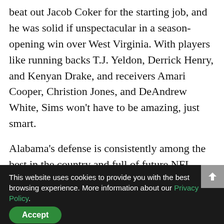beat out Jacob Coker for the starting job, and he was solid if unspectacular in a season-opening win over West Virginia. With players like running backs T.J. Yeldon, Derrick Henry, and Kenyan Drake, and receivers Amari Cooper, Christion Jones, and DeAndrew White, Sims won't have to be amazing, just smart.
Alabama's defense is consistently among the best in the country and full of future NFL talent, but some cracks have started to appear of late. Texas A&M has shredded the Tide 'D' the past two seasons, and Oklahoma's Trevor Knight
This website uses cookies to provide you with the best browsing experience. More information about our Privacy Policy. Accept